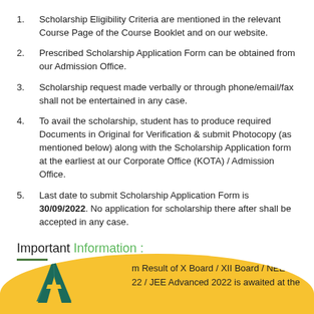Scholarship Eligibility Criteria are mentioned in the relevant Course Page of the Course Booklet and on our website.
Prescribed Scholarship Application Form can be obtained from our Admission Office.
Scholarship request made verbally or through phone/email/fax shall not be entertained in any case.
To avail the scholarship, student has to produce required Documents in Original for Verification & submit Photocopy (as mentioned below) along with the Scholarship Application form at the earliest at our Corporate Office (KOTA) / Admission Office.
Last date to submit Scholarship Application Form is 30/09/2022. No application for scholarship there after shall be accepted in any case.
Important Information :
m Result of X Board / XII Board / NEET (UG) 22 / JEE Advanced 2022 is awaited at the